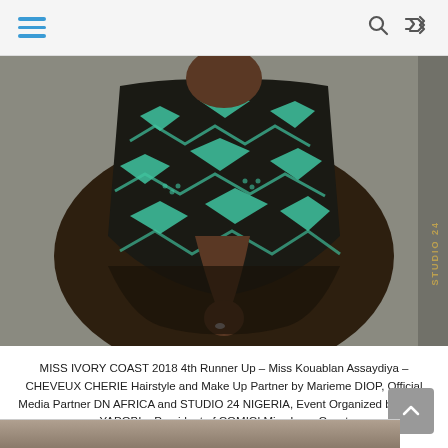Navigation header with hamburger menu, search icon, and shuffle icon
[Figure (photo): A woman wearing a teal and dark brown African print patterned dress, shown from shoulders to below the knees. She is standing against a grey wall. The dress has a flared skirt with geometric patterns. A 'STUDIO 24' watermark is visible on the right side of the image.]
MISS IVORY COAST 2018 4th Runner Up  – Miss Kouablan Assaydiya – CHEVEUX CHERIE Hairstyle and Make Up Partner by Marieme DIOP, Official Media Partner DN AFRICA  and  STUDIO 24 NIGERIA, Event Organized by Victor YAPOBI – President of COMICI Miss Ivory Coast